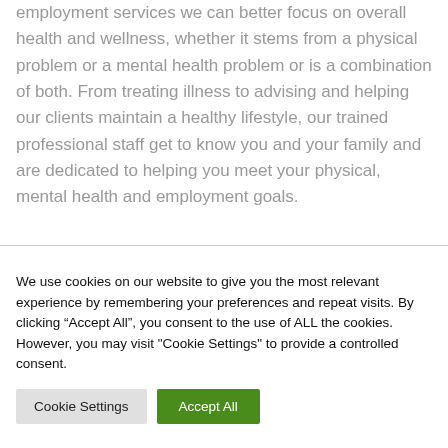employment services we can better focus on overall health and wellness, whether it stems from a physical problem or a mental health problem or is a combination of both. From treating illness to advising and helping our clients maintain a healthy lifestyle, our trained professional staff get to know you and your family and are dedicated to helping you meet your physical, mental health and employment goals.
We use cookies on our website to give you the most relevant experience by remembering your preferences and repeat visits. By clicking “Accept All”, you consent to the use of ALL the cookies. However, you may visit "Cookie Settings" to provide a controlled consent.
Cookie Settings
Accept All